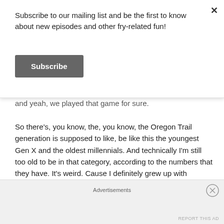Subscribe to our mailing list and be the first to know about new episodes and other fry-related fun!
Subscribe
and yeah, we played that game for sure.
So there’s, you know, the, you know, the Oregon Trail generation is supposed to like, be like this the youngest Gen X and the oldest millennials. And technically I’m still too old to be in that category, according to the numbers that they have. It’s weird. Cause I definitely grew up with
Advertisements